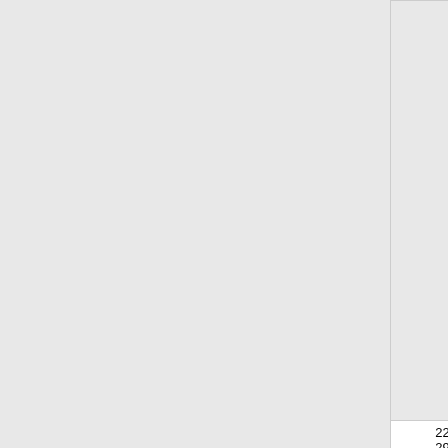| NXX | State | Company | OCN | City |
| --- | --- | --- | --- | --- |
| 225-297-6 | LA | CELLCO PARTNERSHIP DBA VERIZON (Verizon Wireless) | 6505 | BATON |